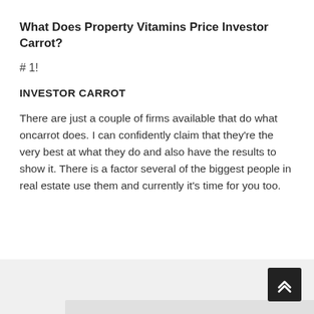What Does Property Vitamins Price Investor Carrot?
# 1!
INVESTOR CARROT
There are just a couple of firms available that do what oncarrot does. I can confidently claim that they're the very best at what they do and also have the results to show it. There is a factor several of the biggest people in real estate use them and currently it's time for you too.